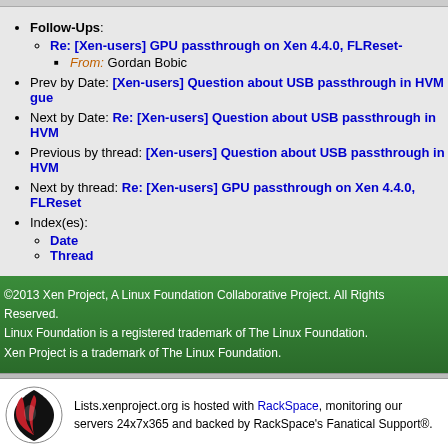Follow-Ups:
Re: [Xen-users] GPU passthrough on Xen 4.4.0, FLReset-
From: Gordan Bobic
Prev by Date: [Xen-users] Question about USB passthrough in HVM gue...
Next by Date: Re: [Xen-users] Question about USB passthrough in HVM...
Previous by thread: [Xen-users] Question about USB passthrough in HVM...
Next by thread: Re: [Xen-users] GPU passthrough on Xen 4.4.0, FLReset...
Index(es):
Date
Thread
©2013 Xen Project, A Linux Foundation Collaborative Project. All Rights Reserved. Linux Foundation is a registered trademark of The Linux Foundation. Xen Project is a trademark of The Linux Foundation.
Lists.xenproject.org is hosted with RackSpace, monitoring our servers 24x7x365 and backed by RackSpace's Fanatical Support®.